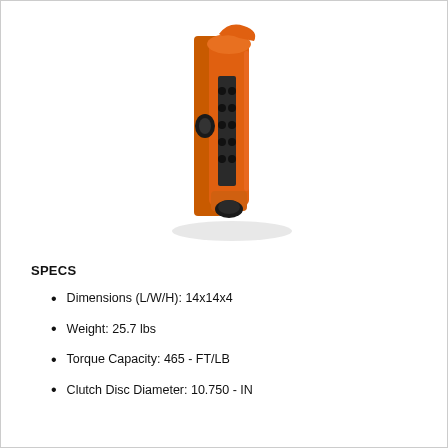[Figure (photo): Side view of an orange and black clutch assembly component, showing the disc and mechanical hardware against a white background with a subtle shadow underneath.]
SPECS
Dimensions (L/W/H): 14x14x4
Weight: 25.7 lbs
Torque Capacity: 465 - FT/LB
Clutch Disc Diameter: 10.750 - IN